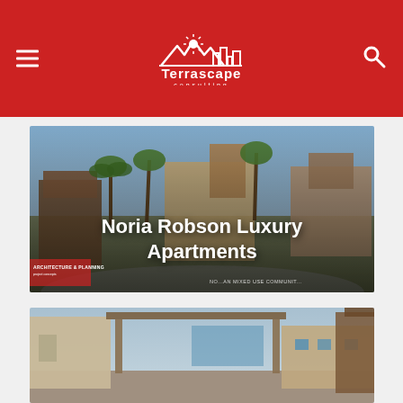[Figure (logo): Terrascape Consulting logo - white mountain/city skyline icon with sun, text 'Terrascape consulting' in white on red background]
[Figure (photo): Rendered architectural image of Noria Robson Luxury Apartments complex with palm trees, landscaping, and mixed-use buildings]
Noria Robson Luxury Apartments
[Figure (photo): Architectural rendering of modern apartment complex with covered walkways and desert landscaping]